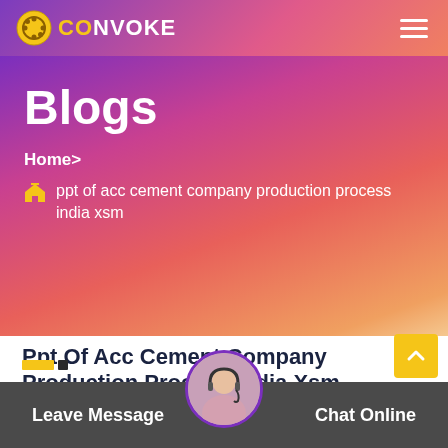CONVOKE
Blogs
Home>
ppt of acc cement company production process india xsm
Ppt Of Acc Cement Company Production Process India Xsm
Leave Message  Chat Online